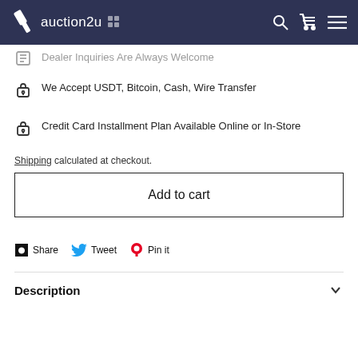auction2u
Dealer Inquiries Are Always Welcome
We Accept USDT, Bitcoin, Cash, Wire Transfer
Credit Card Installment Plan Available Online or In-Store
Shipping calculated at checkout.
Add to cart
Share  Tweet  Pin it
Description